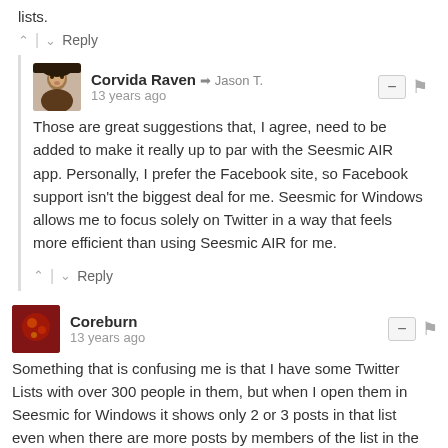lists.
^ | v Reply
Corvida Raven → Jason T.
13 years ago
Those are great suggestions that, I agree, need to be added to make it really up to par with the Seesmic AIR app. Personally, I prefer the Facebook site, so Facebook support isn't the biggest deal for me. Seesmic for Windows allows me to focus solely on Twitter in a way that feels more efficient than using Seesmic AIR for me.
^ | v Reply
Coreburn
13 years ago
Something that is confusing me is that I have some Twitter Lists with over 300 people in them, but when I open them in Seesmic for Windows it shows only 2 or 3 posts in that list even when there are more posts by members of the list in the main/home feed... Sometimes they're just completely empty even though I can see right there in the